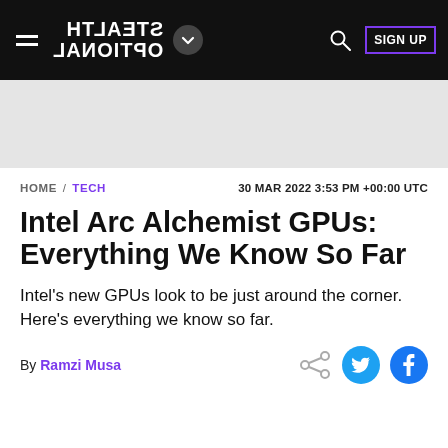STEALTH OPTIONAL — navigation header with logo, hamburger menu, search, and SIGN UP button
[Figure (other): Gray advertisement/banner placeholder area]
HOME / TECH   30 MAR 2022 3:53 PM +00:00 UTC
Intel Arc Alchemist GPUs: Everything We Know So Far
Intel's new GPUs look to be just around the corner. Here's everything we know so far.
By Ramzi Musa